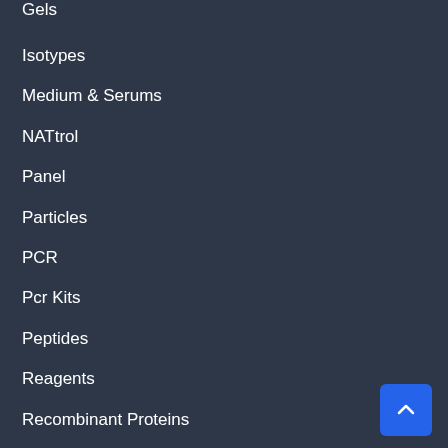Gels
Isotypes
Medium & Serums
NATtrol
Panel
Particles
PCR
Pcr Kits
Peptides
Reagents
Recombinant Proteins
Ria Kits